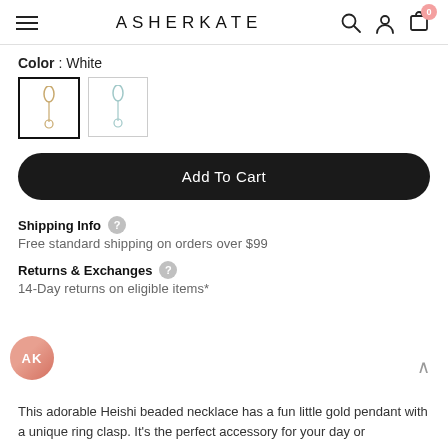ASHERKATE
Color : White
[Figure (photo): Two color swatch thumbnails showing necklace pendant options: first selected (gold on white, black border), second unselected (teal/blue on white, light border)]
Add To Cart
Shipping Info
Free standard shipping on orders over $99
Returns & Exchanges
14-Day returns on eligible items*
This adorable Heishi beaded necklace has a fun little gold pendant with a unique ring clasp. It's the perfect accessory for your day or